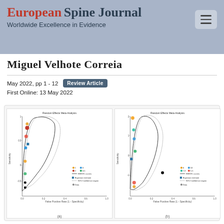European Spine Journal
Worldwide Excellence in Evidence
Miguel Velhote Correia
May 2022, pp 1 - 12  Review Article
First Online: 13 May 2022
[Figure (continuous-plot): Random Effects Meta-Analysis funnel plot (a) showing Sensitivity vs False Positive Rate with HSROC curves, Bayesian estimate, 95% Confidence region, and Data points colored by group]
(a)
[Figure (continuous-plot): Random Effects Meta-Analysis funnel plot (b) showing Sensitivity vs False Positive Rate with HSROC curves, Bayesian estimate, 95% Confidence region, and Data points colored by group]
(b)